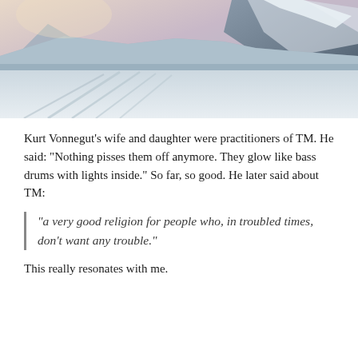[Figure (photo): Snow-covered mountain landscape with ski tracks in the snow and mountain peaks in the background under a pale sky]
Kurt Vonnegut’s wife and daughter were practitioners of TM. He said: “Nothing pisses them off anymore. They glow like bass drums with lights inside.” So far, so good. He later said about TM:
“a very good religion for people who, in troubled times, don’t want any trouble.”
This really resonates with me.